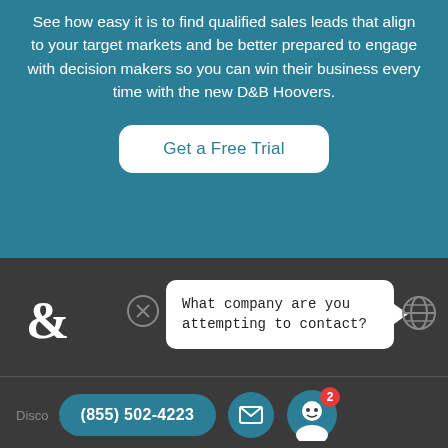See how easy it is to find qualified sales leads that align to your target markets and be better prepared to engage with decision makers so you can win their business every time with the new D&B Hoovers.
Get a Free Trial
[Figure (screenshot): Dark bottom bar showing D&B ampersand logo, close button, chat bubble asking 'What company are you attempting to contact?', and globe icon]
What company are you attempting to contact?
(855) 502-4223
Disco